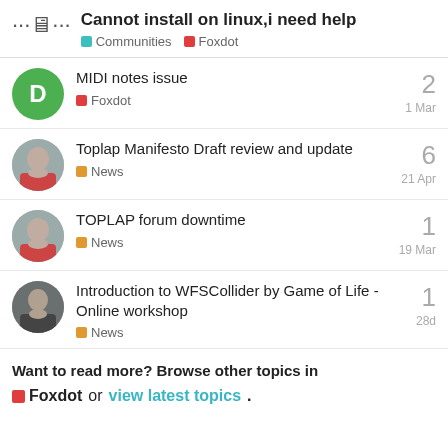Cannot install on linux,i need help
Communities  Foxdot
MIDI notes issue | Foxdot | 1 Mar | 2
Toplap Manifesto Draft review and update | News | 21 Apr | 6
TOPLAP forum downtime | News | 19 Mar | 1
Introduction to WFSCollider by Game of Life - Online workshop | News | 28d | 1
Want to read more? Browse other topics in Foxdot or view latest topics.